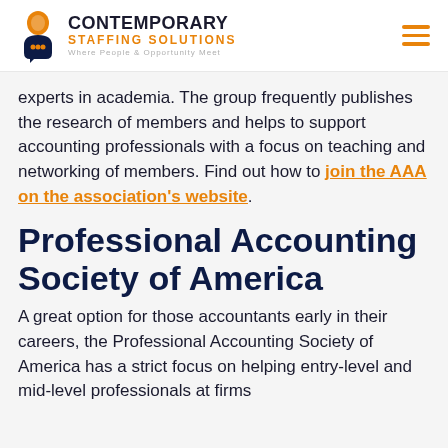Contemporary Staffing Solutions — Where People & Opportunity Meet
experts in academia. The group frequently publishes the research of members and helps to support accounting professionals with a focus on teaching and networking of members. Find out how to join the AAA on the association's website.
Professional Accounting Society of America
A great option for those accountants early in their careers, the Professional Accounting Society of America has a strict focus on helping entry-level and mid-level professionals at firms